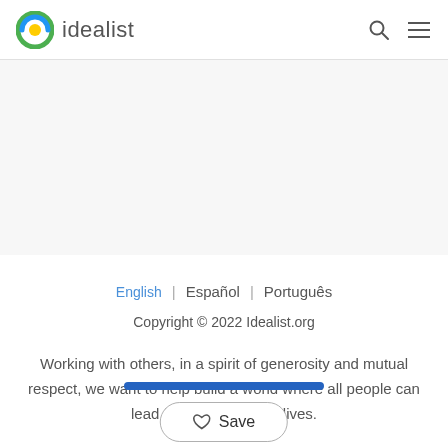idealist
English | Español | Português
Copyright © 2022 Idealist.org
Working with others, in a spirit of generosity and mutual respect, we want to help build a world where all people can lead free and dignified lives.
Save